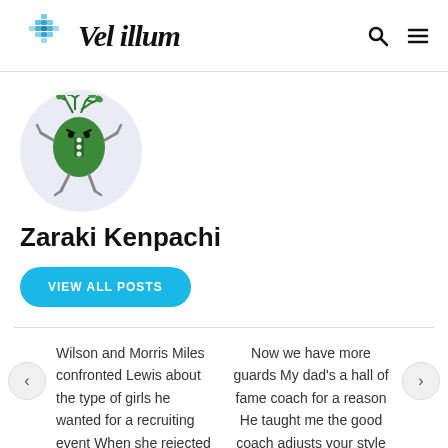Vel illum
[Figure (illustration): Cartoon character avatar: a green bug-like creature with antennae/branches on top, wearing a vest with white buttons, with thin arms and legs, displayed in a circular light purple/gray background]
Zaraki Kenpachi
VIEW ALL POSTS
Wilson and Morris Miles confronted Lewis about the type of girls he wanted for a recruiting event When she rejected his orders she said
Now we have more guards My dad's a hall of fame coach for a reason He taught me the good coach adjusts your style to the personnel you have